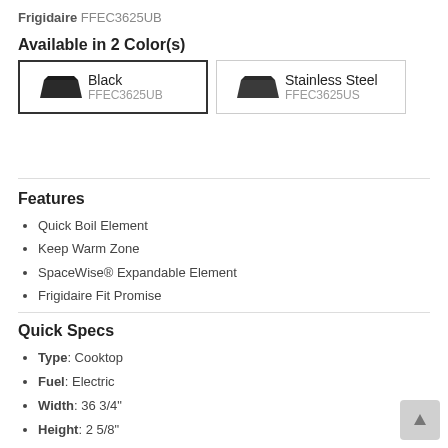Frigidaire FFEC3625UB
Available in 2 Color(s)
[Figure (other): Two color option boxes: Black (FFEC3625UB, selected) and Stainless Steel (FFEC3625US), each showing a cooktop image thumbnail]
Features
Quick Boil Element
Keep Warm Zone
SpaceWise® Expandable Element
Frigidaire Fit Promise
Quick Specs
Type: Cooktop
Fuel: Electric
Width: 36 3/4"
Height: 2 5/8"
Depth: 21 3/8"
Nominal Width: 36"